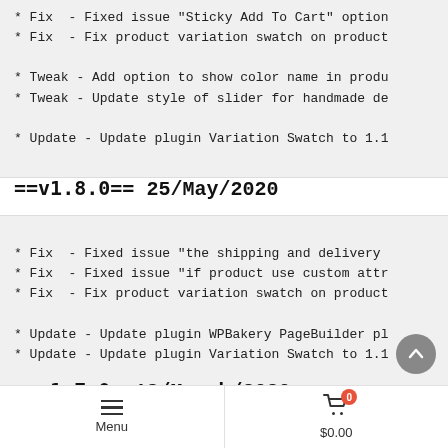* Fix  - Fixed issue "Sticky Add To Cart" option
* Fix  - Fix product variation swatch on product
* Tweak - Add option to show color name in produ
* Tweak - Update style of slider for handmade de
* Update - Update plugin Variation Swatch to 1.1
==v1.8.0== 25/May/2020
* Fix  - Fixed issue "the shipping and delivery
* Fix  - Fixed issue "if product use custom attr
* Fix  - Fix product variation swatch on product
* Update - Update plugin WPBakery PageBuilder pl
* Update - Update plugin Variation Swatch to 1.1
==v1.7.0== 18/March/2020
Menu   |   Cart $0.00 (0)